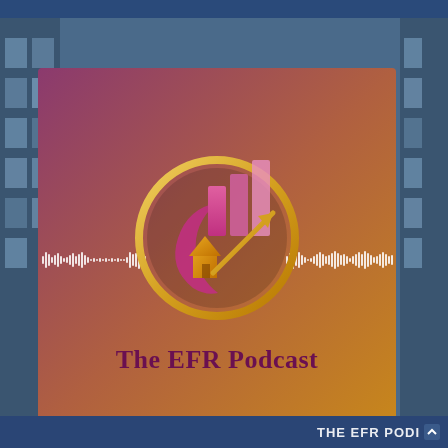[Figure (logo): The EFR Podcast logo artwork. A square image with a gradient background from dark rose/purple on the upper left to golden orange on the lower right. In the center is a circular gold-rimmed logo containing pink rising bar chart bars, a golden house silhouette, and an upward-pointing gold arrow. A white audio waveform visualization crosses the image horizontally behind the logo. Below the circle, text reads 'The EFR Podcast' in dark purple. The background shows a blurred building exterior. Bottom right corner shows 'THE EFR PODI' text in white.]